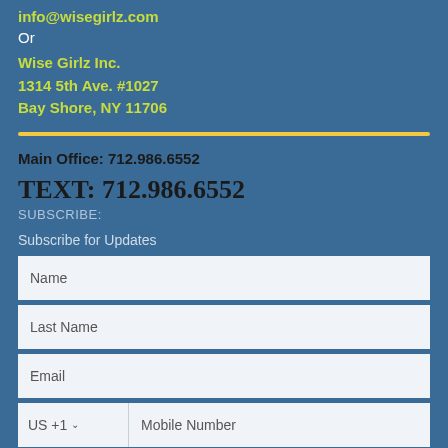info@wisegirlz.com
Or
Wise Girlz Inc.
1314 5th Ave. #1027
Bay Shore, NY 11706
Main Office: 712.986.6552
TEXT: 712.986.6552
SUBSCRIBE:
Subscribe for Updates
Name
Last Name
Email
US +1   Mobile Number